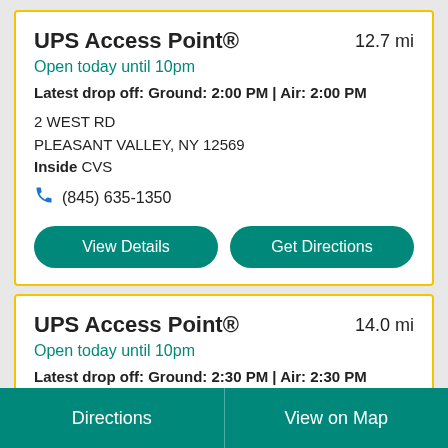UPS Access Point®
12.7 mi
Open today until 10pm
Latest drop off: Ground: 2:00 PM | Air: 2:00 PM
2 WEST RD
PLEASANT VALLEY, NY 12569
Inside CVS
(845) 635-1350
View Details
Get Directions
UPS Access Point®
14.0 mi
Open today until 10pm
Latest drop off: Ground: 2:30 PM | Air: 2:30 PM
Directions | View on Map